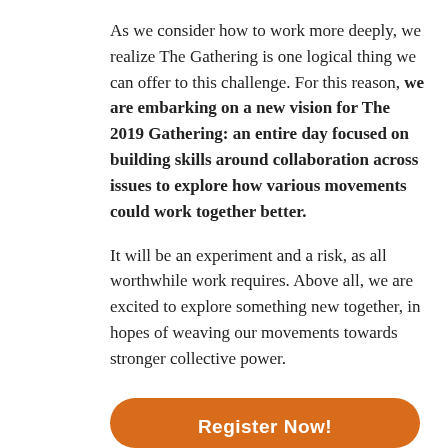As we consider how to work more deeply, we realize The Gathering is one logical thing we can offer to this challenge. For this reason, we are embarking on a new vision for The 2019 Gathering: an entire day focused on building skills around collaboration across issues to explore how various movements could work together better.
It will be an experiment and a risk, as all worthwhile work requires. Above all, we are excited to explore something new together, in hopes of weaving our movements towards stronger collective power.
Register Now!